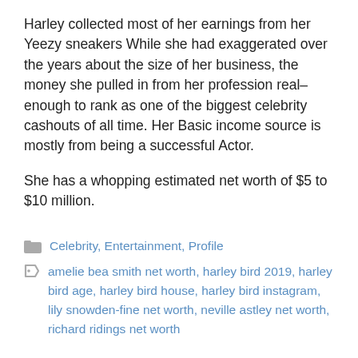Harley collected most of her earnings from her Yeezy sneakers While she had exaggerated over the years about the size of her business, the money she pulled in from her profession real–enough to rank as one of the biggest celebrity cashouts of all time. Her Basic income source is mostly from being a successful Actor.
She has a whopping estimated net worth of $5 to $10 million.
Celebrity, Entertainment, Profile
amelie bea smith net worth, harley bird 2019, harley bird age, harley bird house, harley bird instagram, lily snowden-fine net worth, neville astley net worth, richard ridings net worth